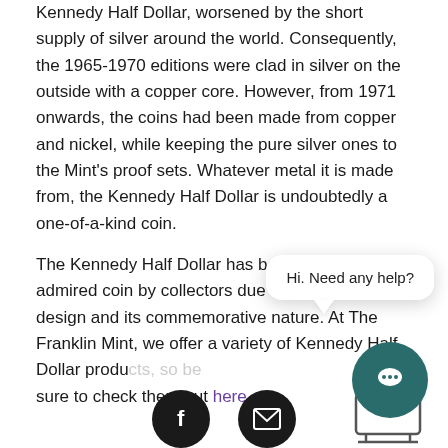Kennedy Half Dollar, worsened by the short supply of silver around the world. Consequently, the 1965-1970 editions were clad in silver on the outside with a copper core. However, from 1971 onwards, the coins had been made from copper and nickel, while keeping the pure silver ones to the Mint's proof sets. Whatever metal it is made from, the Kennedy Half Dollar is undoubtedly a one-of-a-kind coin.
The Kennedy Half Dollar has been the most admired coin by collectors due to its unique design and its commemorative nature. At The Franklin Mint, we offer a variety of Kennedy Half Dollar products, so be sure to check them out here.
[Figure (other): Chat widget: popup bubble saying 'Hi. Need any help?' with a teal circular chat button below it, and a monitor/screen icon]
[Figure (other): Social media icons row: Facebook icon (dark circle with F) and email/envelope icon (dark circle with envelope symbol)]